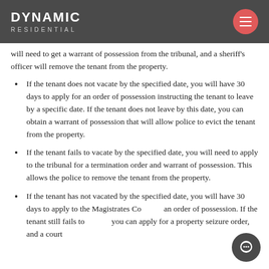DYNAMIC RESIDENTIAL
will need to get a warrant of possession from the tribunal, and a sheriff's officer will remove the tenant from the property.
If the tenant does not vacate by the specified date, you will have 30 days to apply for an order of possession instructing the tenant to leave by a specific date. If the tenant does not leave by this date, you can obtain a warrant of possession that will allow police to evict the tenant from the property.
If the tenant fails to vacate by the specified date, you will need to apply to the tribunal for a termination order and warrant of possession. This allows the police to remove the tenant from the property.
If the tenant has not vacated by the specified date, you will have 30 days to apply to the Magistrates Court for an order of possession. If the tenant still fails to vacate, you can apply for a property seizure order, and a court